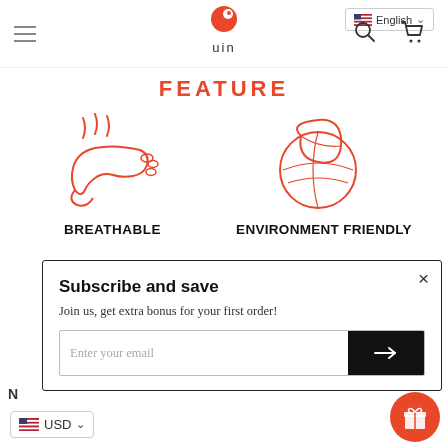uin — navigation header with hamburger menu, logo, search, cart, and English language selector
FEATURE
[Figure (illustration): Red outline illustration of a foot with steam lines above, representing breathable footwear]
BREATHABLE
[Figure (illustration): Red outline illustration of a leaf with globe, representing environment friendly footwear]
ENVIRONMENT FRIENDLY
Subscribe and save
Join us, get extra bonus for your first order!
Enter your email
USD